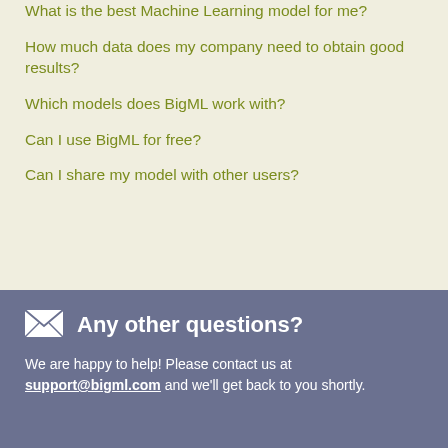What is the best Machine Learning model for me?
How much data does my company need to obtain good results?
Which models does BigML work with?
Can I use BigML for free?
Can I share my model with other users?
Any other questions?
We are happy to help! Please contact us at support@bigml.com and we'll get back to you shortly.